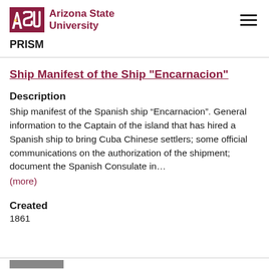ASU Arizona State University | PRISM
Ship Manifest of the Ship "Encarnacion"
Description
Ship manifest of the Spanish ship “Encarnacion”. General information to the Captain of the island that has hired a Spanish ship to bring Cuba Chinese settlers; some official communications on the authorization of the shipment; document the Spanish Consulate in…
(more)
Created
1861